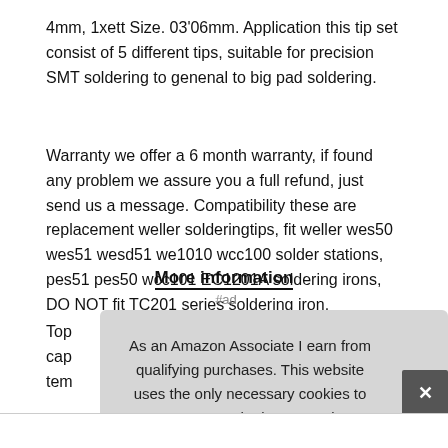4mm, 1xett Size. 03'06mm. Application this tip set consist of 5 different tips, suitable for precision SMT soldering to genenal to big pad soldering.
Warranty we offer a 6 month warranty, if found any problem we assure you a full refund, just send us a message. Compatibility these are replacement weller solderingtips, fit weller wes50 wes51 wesd51 we1010 wcc100 solder stations, pes51 pes50 wcc101 EC1201A soldering irons, DO NOT fit TC201 series soldering iron.
More information #ad
Top cap tem
As an Amazon Associate I earn from qualifying purchases. This website uses the only necessary cookies to ensure you get the best experience on our website. More information